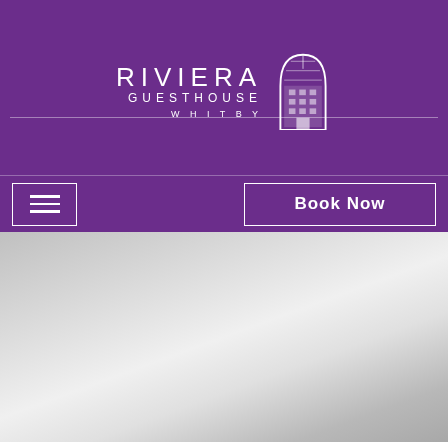[Figure (logo): Riviera Guesthouse Whitby logo with building icon]
[Figure (other): Navigation bar with hamburger menu button on left and Book Now button on right]
[Figure (photo): Hero image area with grey gradient background]
Our Guide To Whitby Regatta 13th, 14th And 15th August 2022